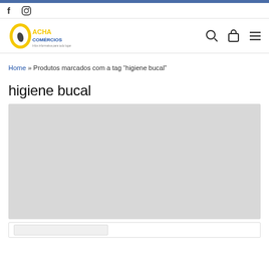Acha Comércios - social and nav header
Home » Produtos marcados com a tag “higiene bucal”
higiene bucal
[Figure (other): Gray placeholder rectangle for a product image]